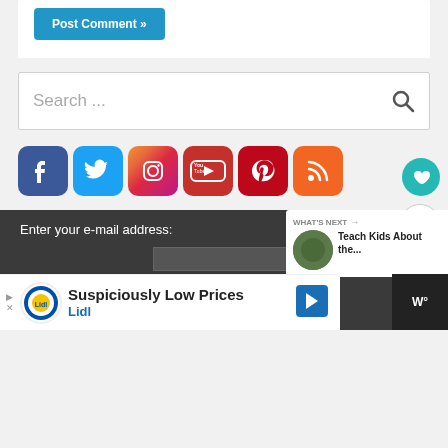[Figure (screenshot): Blue 'Post Comment' button partially visible at top]
Search ...
[Figure (infographic): Row of social media icons: Facebook, Twitter, Instagram, YouTube, Pinterest, RSS feed]
Enter your e-mail address:
[Figure (screenshot): What's Next panel showing 'Teach Kids About the...' with thumbnail]
[Figure (screenshot): Lidl advertisement: Suspiciously Low Prices - Lidl]
[Figure (logo): W degree symbol watermark in bottom right]